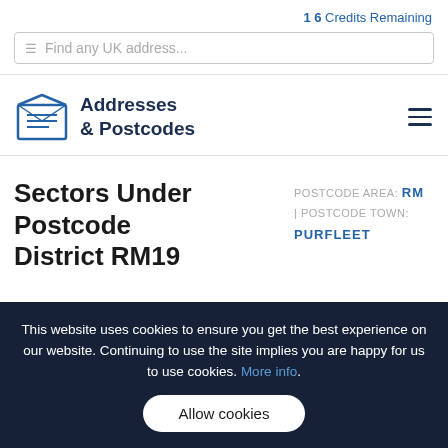16 Credits Remaining
Find any UK address...
[Figure (logo): Addresses & Postcodes logo with envelope icon]
Sectors Under Postcode District RM19
POSTCODE AREA: RM | POSTCODE TOWN: PURFLEET
This website uses cookies to ensure you get the best experience on our website. Continuing to use the site implies you are happy for us to use cookies. More info.